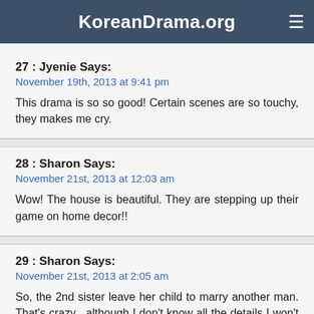KoreanDrama.org
27 : Jyenie Says:
November 19th, 2013 at 9:41 pm
This drama is so so good! Certain scenes are so touchy, they makes me cry.
28 : Sharon Says:
November 21st, 2013 at 12:03 am
Wow! The house is beautiful. They are stepping up their game on home decor!!
29 : Sharon Says:
November 21st, 2013 at 2:05 am
So, the 2nd sister leave her child to marry another man. That's crazy , although I don't know all the details I won't pass any judgment. The kid seems to love her dad to death, all those kisses she gave him and her mom receive no warmth from her